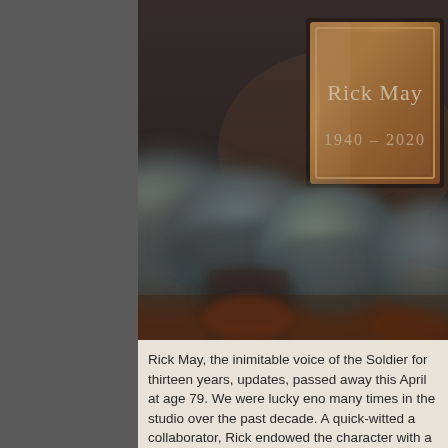[Figure (illustration): A dark atmospheric illustration showing blurred soldier helmet figures in the foreground, with a bronze memorial plaque in the background reading 'Rick May 1940 - 2020'. The scene appears to be from Team Fortress 2 game artwork as a tribute.]
Rick May, the inimitable voice of the Soldier for thirteen years, updates, passed away this April at age 79. We were lucky eno many times in the studio over the past decade. A quick-witted a collaborator, Rick endowed the character with a trademark b...